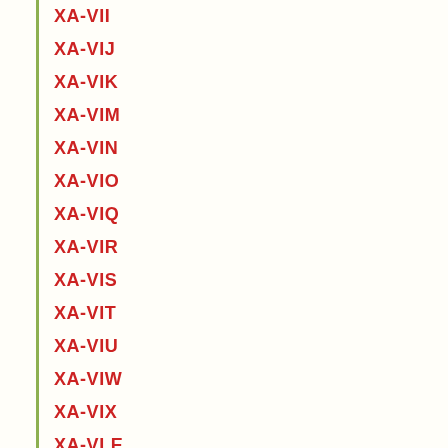XA-VII
XA-VIJ
XA-VIK
XA-VIM
XA-VIN
XA-VIO
XA-VIQ
XA-VIR
XA-VIS
XA-VIT
XA-VIU
XA-VIW
XA-VIX
XA-VLE
XA-VLN
XA-VLO